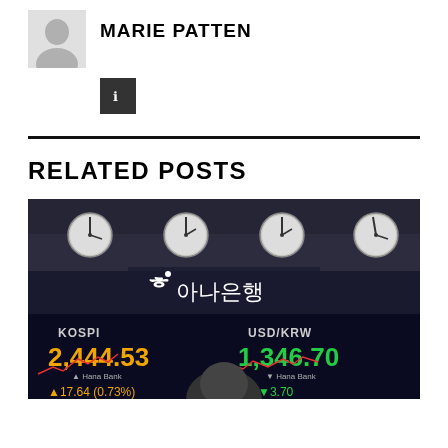[Figure (photo): Author avatar silhouette placeholder]
MARIE PATTEN
[Figure (other): Dark square social media button with icon]
RELATED POSTS
[Figure (photo): Hana Bank trading floor with clocks on ceiling and screens showing KOSPI 2,444.53 up 17.64 (0.73%) and USD/KRW 1,346.70 down 3.70]